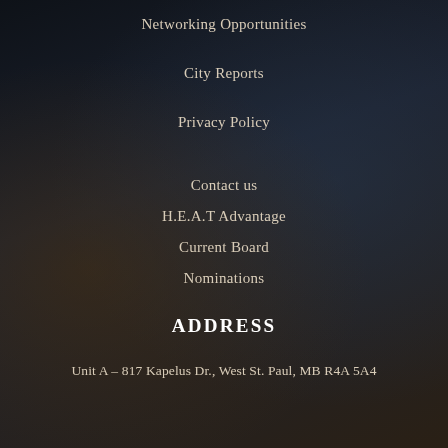Networking Opportunities
City Reports
Privacy Policy
Contact us
H.E.A.T Advantage
Current Board
Nominations
ADDRESS
Unit A – 817 Kapelus Dr., West St. Paul, MB R4A 5A4